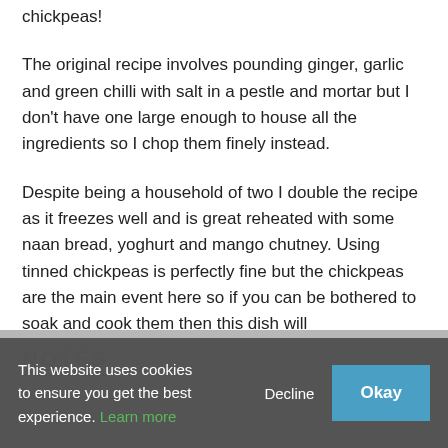chickpeas!
The original recipe involves pounding ginger, garlic and green chilli with salt in a pestle and mortar but I don’t have one large enough to house all the ingredients so I chop them finely instead.
Despite being a household of two I double the recipe as it freezes well and is great reheated with some naan bread, yoghurt and mango chutney. Using tinned chickpeas is perfectly fine but the chickpeas are the main event here so if you can be bothered to soak and cook them then this dish will be all the more joyful for it.
NOTES
This website uses cookies to ensure you get the best experience. Learn more
Decline
Okay